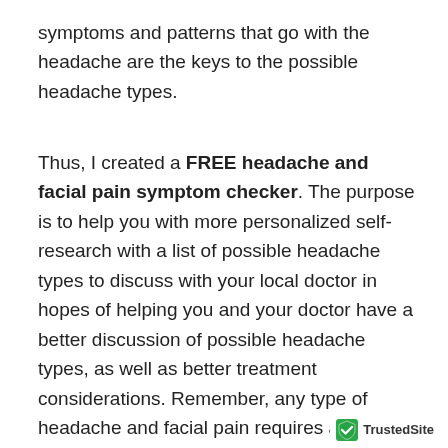symptoms and patterns that go with the headache are the keys to the possible headache types.
Thus, I created a FREE headache and facial pain symptom checker. The purpose is to help you with more personalized self-research with a list of possible headache types to discuss with your local doctor in hopes of helping you and your doctor have a better discussion of possible headache types, as well as better treatment considerations. Remember, any type of headache and facial pain requires an office visit and physical examination with your doctor. This symptom checker tool is purely educational to provoke thinking of a variety of headache possibilities. However, bad causes of headache can present as mild and simple headache disorders such as migraine. So, a visit to
[Figure (logo): TrustedSite logo with green checkmark shield]